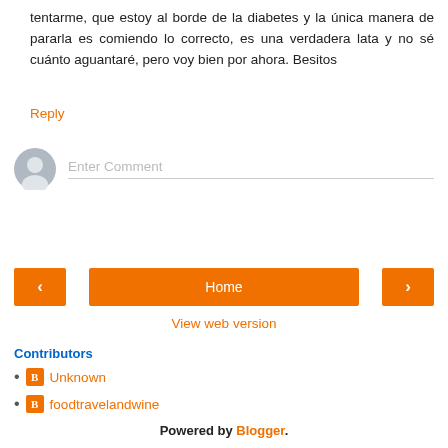tentarme, que estoy al borde de la diabetes y la única manera de pararla es comiendo lo correcto, es una verdadera lata y no sé cuánto aguantaré, pero voy bien por ahora. Besitos
Reply
Enter Comment
Home
View web version
Contributors
Unknown
foodtravelandwine
Powered by Blogger.